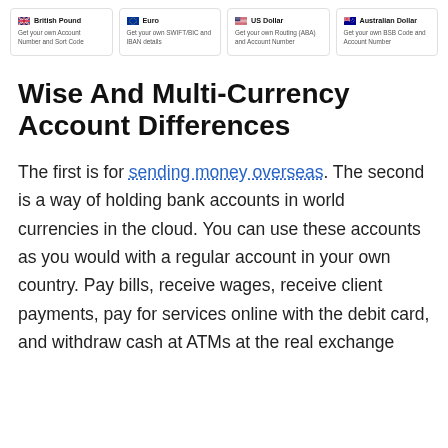[Figure (infographic): Four currency cards in a row: British Pound (Get your own Account Number and Sort Code), Euro (Get your own SWIFT/BIC and IBAN details), US Dollar (Get your own Routing (ABA) and Account Number), Australian Dollar (Get your own BSB Code and Account Number)]
Wise And Multi-Currency Account Differences
The first is for sending money overseas. The second is a way of holding bank accounts in world currencies in the cloud. You can use these accounts as you would with a regular account in your own country. Pay bills, receive wages, receive client payments, pay for services online with the debit card, and withdraw cash at ATMs at the real exchange